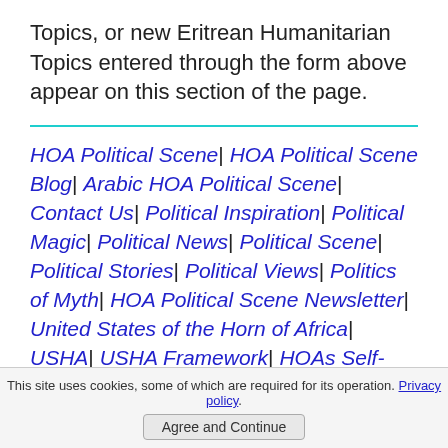Topics, or new Eritrean Humanitarian Topics entered through the form above appear on this section of the page.
HOA Political Scene| HOA Political Scene Blog| Arabic HOA Political Scene| Contact Us| Political Inspiration| Political Magic| Political News| Political Scene| Political Stories| Political Views| Politics of Myth| HOA Political Scene Newsletter| United States of the Horn of Africa| USHA| USHA Framework| HOAs Self-Publishing| HOA Calls| HOAs Data Analyzing| HOAs Videos| HOAs Political Business| Horn of
This site uses cookies, some of which are required for its operation. Privacy policy.
Agree and Continue